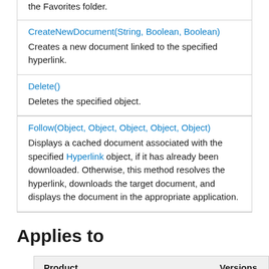the Favorites folder.
CreateNewDocument(String, Boolean, Boolean)
Creates a new document linked to the specified hyperlink.
Delete()
Deletes the specified object.
Follow(Object, Object, Object, Object, Object)
Displays a cached document associated with the specified Hyperlink object, if it has already been downloaded. Otherwise, this method resolves the hyperlink, downloads the target document, and displays the document in the appropriate application.
Applies to
| Product | Versions |
| --- | --- |